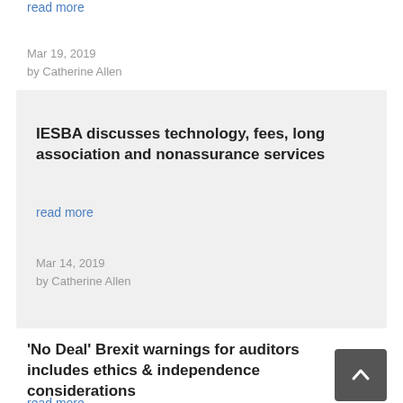read more
Mar 19, 2019
by Catherine Allen
IESBA discusses technology, fees, long association and nonassurance services
read more
Mar 14, 2019
by Catherine Allen
'No Deal' Brexit warnings for auditors includes ethics & independence considerations
read more